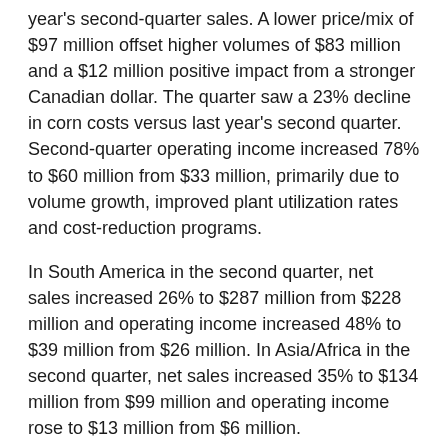year's second-quarter sales. A lower price/mix of $97 million offset higher volumes of $83 million and a $12 million positive impact from a stronger Canadian dollar. The quarter saw a 23% decline in corn costs versus last year's second quarter. Second-quarter operating income increased 78% to $60 million from $33 million, primarily due to volume growth, improved plant utilization rates and cost-reduction programs.
In South America in the second quarter, net sales increased 26% to $287 million from $228 million and operating income increased 48% to $39 million from $26 million. In Asia/Africa in the second quarter, net sales increased 35% to $134 million from $99 million and operating income rose to $13 million from $6 million.
"We saw strong volume recovery across all our regions," Ms. Gordon said. "In North America, we continued to see strong demand from the beverage industry in Mexico. In South America, volume growth was led by our customers in the